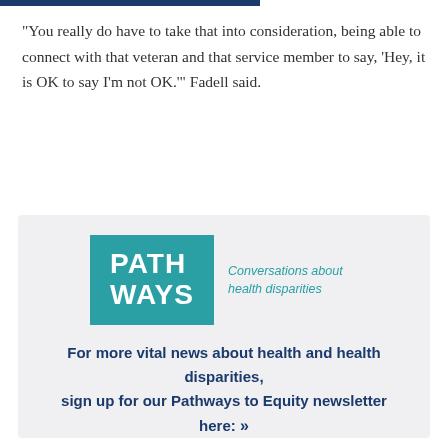“You really do have to take that into consideration, being able to connect with that veteran and that service member to say, ‘Hey, it is OK to say I’m not OK.’” Fadell said.
[Figure (logo): PATH WAYS logo in teal square with tagline 'Conversations about health disparities' in teal text beside it]
For more vital news about health and health disparities, sign up for our Pathways to Equity newsletter here: »»